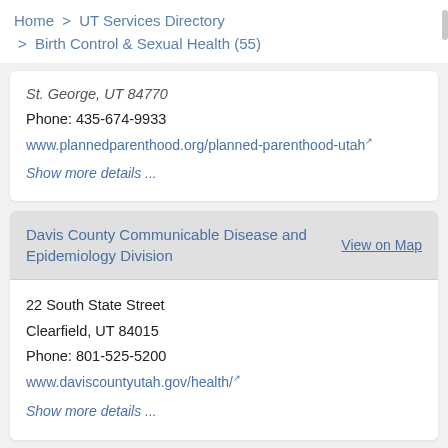Home > UT Services Directory > Birth Control & Sexual Health (55)
St. George, UT 84770
Phone: 435-674-9933
www.plannedparenthood.org/planned-parenthood-utah
Show more details ...
Davis County Communicable Disease and Epidemiology Division
22 South State Street
Clearfield, UT 84015
Phone: 801-525-5200
www.daviscountyutah.gov/health/
Show more details ...
Moab Free Health Clinic, Grand County